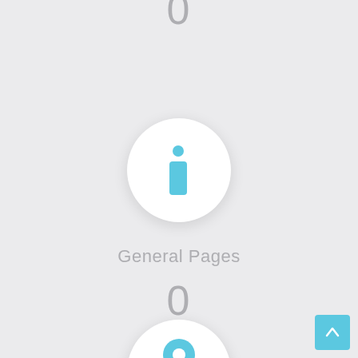0
[Figure (illustration): White circle icon with blue italic 'i' information symbol, with drop shadow on light gray background]
General Pages
0
[Figure (illustration): White circle icon partially visible at bottom with blue location/map pin symbol]
[Figure (illustration): Light blue scroll-to-top button with white upward chevron arrow in bottom right corner]